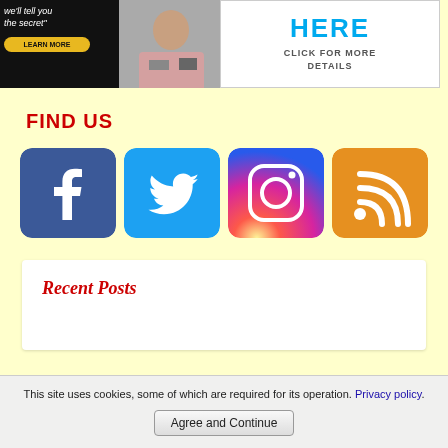[Figure (screenshot): Left advertisement banner: dark background with italic text 'we'll tell you the secret"' and a yellow 'LEARN MORE' button, plus a photo of a person]
[Figure (screenshot): Right advertisement banner: white background with large cyan 'HERE' text and 'CLICK FOR MORE DETAILS' in dark text]
FIND US
[Figure (logo): Facebook logo icon - blue square with white F]
[Figure (logo): Twitter logo icon - blue square with white bird]
[Figure (logo): Instagram logo icon - gradient square with camera]
[Figure (logo): RSS feed logo icon - orange square with white RSS symbol]
Recent Posts
This site uses cookies, some of which are required for its operation. Privacy policy.